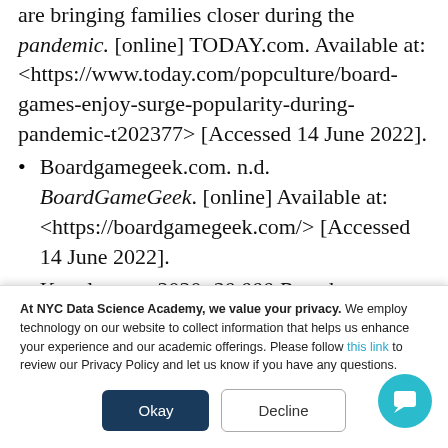are bringing families closer during the pandemic. [online] TODAY.com. Available at: <https://www.today.com/popculture/board-games-enjoy-surge-popularity-during-pandemic-t202377> [Accessed 14 June 2022].
Boardgamegeek.com. n.d. BoardGameGeek. [online] Available at: <https://boardgamegeek.com/> [Accessed 14 June 2022].
Kaggle.com. 2020. 20,000 Boardgames
At NYC Data Science Academy, we value your privacy. We employ technology on our website to collect information that helps us enhance your experience and our academic offerings. Please follow this link to review our Privacy Policy and let us know if you have any questions.